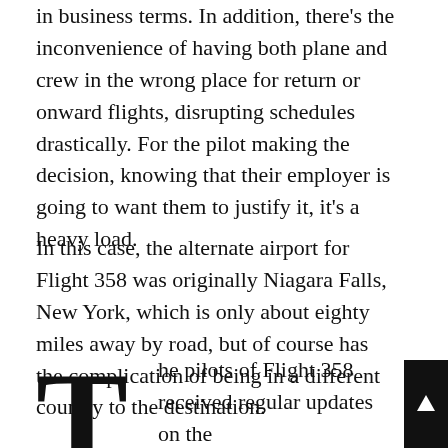in business terms. In addition, there's the inconvenience of having both plane and crew in the wrong place for return or onward flights, disrupting schedules drastically. For the pilot making the decision, knowing that their employer is going to want them to justify it, it's a heavy load.
In this case, the alternate airport for Flight 358 was originally Niagara Falls, New York, which is only about eighty miles away by road, but of course has the complication of being in a different country to the destination.
The pilots of Flight 358 received regular updates on the